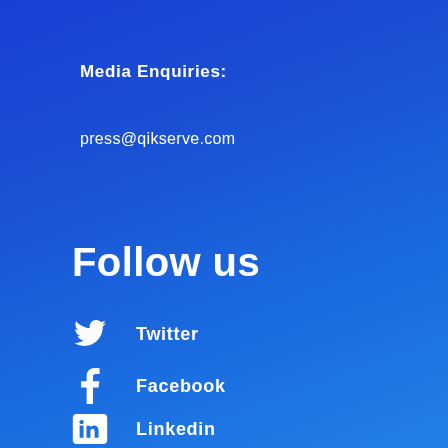Media Enquiries:
press@qikserve.com
Follow us
Twitter
Facebook
Linkedin